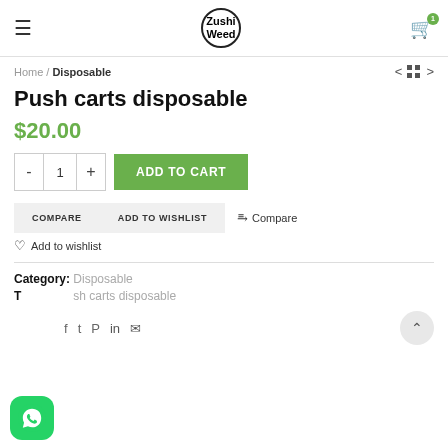ZushiWeed — navigation header with hamburger menu, logo, and cart icon
Home / Disposable
Push carts disposable
$20.00
- 1 + ADD TO CART
COMPARE | ADD TO WISHLIST | Compare
Add to wishlist
Category: Disposable
Tags: Push carts disposable
Share icons: Facebook, Twitter, Pinterest, LinkedIn, Telegram